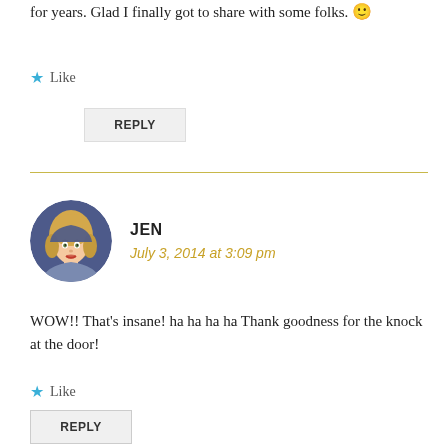for years. Glad I finally got to share with some folks. 🙂
★ Like
REPLY
JEN
July 3, 2014 at 3:09 pm
[Figure (illustration): Circular avatar illustration of a blonde woman with blue-purple background]
WOW!! That's insane! ha ha ha ha Thank goodness for the knock at the door!
★ Like
REPLY